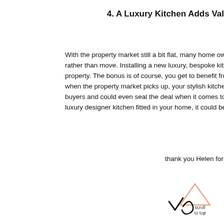4. A Luxury Kitchen Adds Val
With the property market still a bit flat, many home owners de rather than move. Installing a new luxury, bespoke kitchen is e property. The bonus is of course, you get to benefit from som when the property market picks up, your stylish kitchen will b buyers and could even seal the deal when it comes to selling y luxury designer kitchen fitted in your home, it could be the m
thank you Helen for your expertise, have a
[Figure (illustration): Logo/signature mark with stylized checkmark and cursive letter, alongside a triangle shape and 'scroll to top' text]